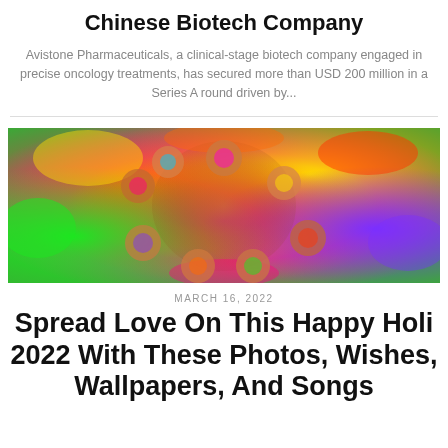Chinese Biotech Company
Avistone Pharmaceuticals, a clinical-stage biotech company engaged in precise oncology treatments, has secured more than USD 200 million in a Series A round driven by...
[Figure (photo): Aerial view of a group of people lying in a circle with their heads together, covered in colorful Holi festival powder in bright orange, pink, green, red and yellow colors.]
MARCH 16, 2022
Spread Love On This Happy Holi 2022 With These Photos, Wishes, Wallpapers, And Songs